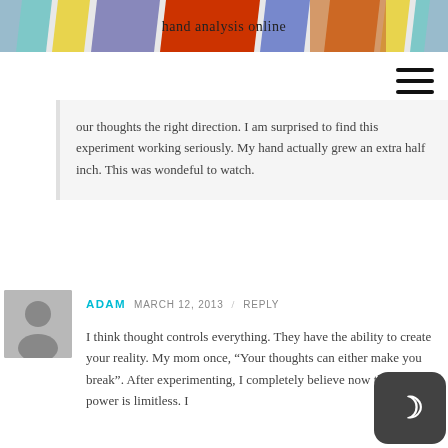[Figure (illustration): Colorful banner header with diagonal color blocks (teal, yellow, orange-red, blue-purple, blue, orange) and text 'hand analysis online' in the center]
[Figure (infographic): Hamburger menu icon (three horizontal black lines) in top right]
our thoughts the right direction. I am surprised to find this experiment working seriously. My hand actually grew an extra half inch. This was wondeful to watch.
[Figure (photo): Gray avatar/placeholder user silhouette icon]
ADAM   MARCH 12, 2013 / REPLY
I think thought controls everything. They have the ability to create your reality. My mom once, “Your thoughts can either make you break”. After experimenting, I completely believe now that thought power is limitless. I